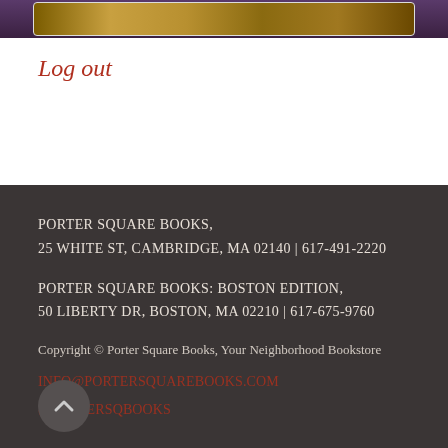[Figure (photo): Partial image strip at the top showing a blurred book or product photo with gold/purple tones]
Log out
PORTER SQUARE BOOKS,
25 WHITE ST, CAMBRIDGE, MA 02140 | 617-491-2220

PORTER SQUARE BOOKS: BOSTON EDITION,
50 LIBERTY DR, BOSTON, MA 02210 | 617-675-9760

Copyright © Porter Square Books, Your Neighborhood Bookstore

INFO@PORTERSQUAREBOOKS.COM

@PORTERSQBOOKS